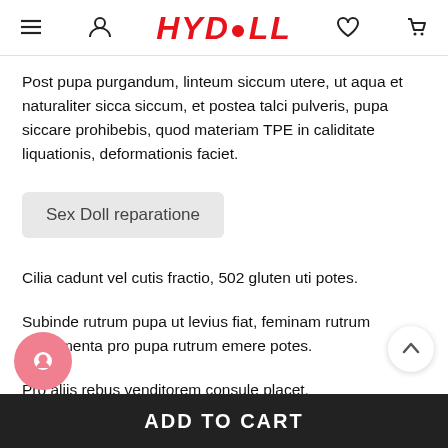HYDOLL
Post pupa purgandum, linteum siccum utere, ut aqua et naturaliter sicca siccum, et postea talci pulveris, pupa siccare prohibebis, quod materiam TPE in caliditate liquationis, deformationis faciet.
Sex Doll reparatione
Cilia cadunt vel cutis fractio, 502 gluten uti potes.
Subinde rutrum pupa ut levius fiat, feminam rutrum instrumenta pro pupa rutrum emere potes.
Pro aliis rebus venditorem consule placet.
ADD TO CART